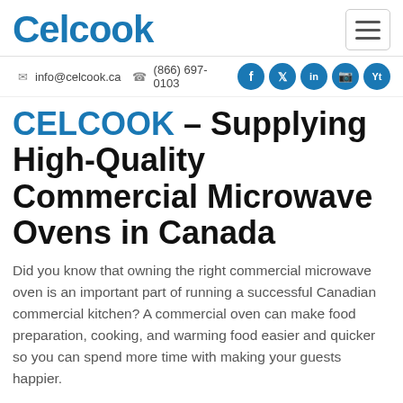Celcook
✉ info@celcook.ca  ☎ (866) 697-0103
CELCOOK – Supplying High-Quality Commercial Microwave Ovens in Canada
Did you know that owning the right commercial microwave oven is an important part of running a successful Canadian commercial kitchen? A commercial oven can make food preparation, cooking, and warming food easier and quicker so you can spend more time with making your guests happier.